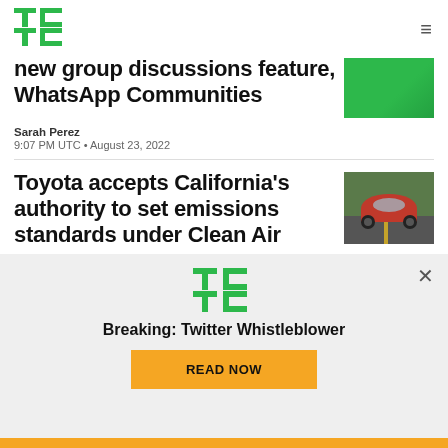TechCrunch logo + hamburger menu
new group discussions feature, WhatsApp Communities
Sarah Perez
9:07 PM UTC • August 23, 2022
Toyota accepts California's authority to set emissions standards under Clean Air
[Figure (screenshot): Green banner/image thumbnail for WhatsApp article]
[Figure (photo): Red Toyota car driving on road, rear view]
[Figure (logo): TechCrunch TC logo overlay popup]
Breaking: Twitter Whistleblower
READ NOW